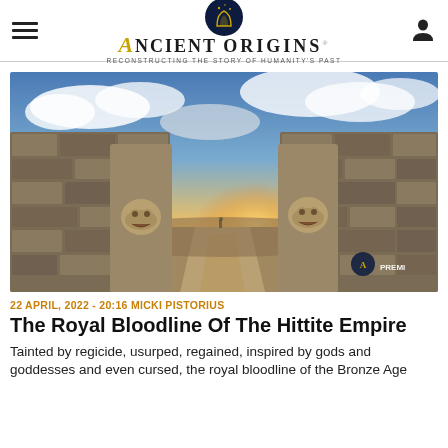Ancient Origins — Reconstructing the story of humanity's past
[Figure (photo): Stone lion gate at Hattusa, the ancient Hittite capital, showing large stone lion sculptures flanking a passageway through massive stone walls, with a dramatic sunset sky in the background. Ancient Origins PREMIUM watermark visible in lower right.]
22APRIL, 2022 - 20:16 MICKI PISTORIUS
The Royal Bloodline Of The Hittite Empire
Tainted by regicide, usurped, regained, inspired by gods and goddesses and even cursed, the royal bloodline of the Bronze Age